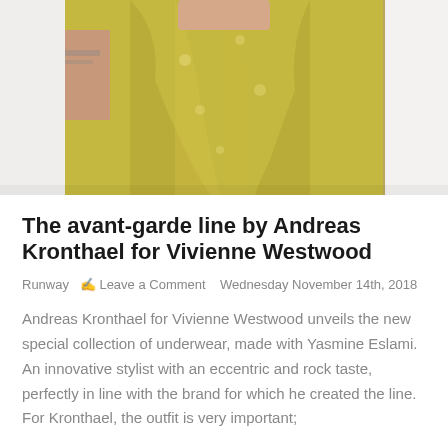[Figure (photo): Close-up photo of a person wearing a yellow-green draped dress/garment with white floral pattern, visible tattoo on arm, white garments visible in background]
The avant-garde line by Andreas Kronthael for Vivienne Westwood
Runway  ● Leave a Comment  Wednesday November 14th, 2018
Andreas Kronthael for Vivienne Westwood unveils the new special collection of underwear, made with Yasmine Eslami. An innovative stylist with an eccentric and rock taste, perfectly in line with the brand for which he created the line. For Kronthael, the outfit is very important;
Andreas Kronthael
Primavera Estate 2019